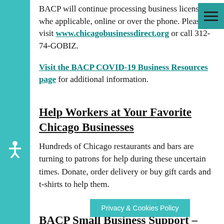BACP will continue processing business licenses, where applicable, online or over the phone. Please visit www.chicagobusinessdirect.org or call 312-74-GOBIZ.
Visit the BACP COVID-19 Business Resources page for additional information.
Help Workers at Your Favorite Chicago Businesses
Hundreds of Chicago restaurants and bars are turning to patrons for help during these uncertain times. Donate, order delivery or buy gift cards and t-shirts to help them.
BACP Small Business Support – Survey
The City of Chicago's Dep... affairs &